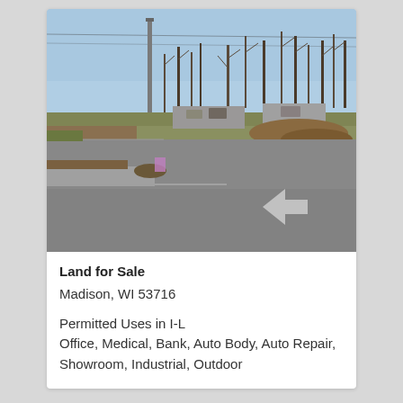[Figure (photo): Street-level photo of a vacant land parcel at an intersection in Madison, WI. Shows a road with a turn arrow, a light pole, bare winter trees, and a parking lot in the background under a blue sky.]
Land for Sale
Madison, WI 53716
Permitted Uses in I-L
Office, Medical, Bank, Auto Body, Auto Repair, Showroom, Industrial, Outdoor